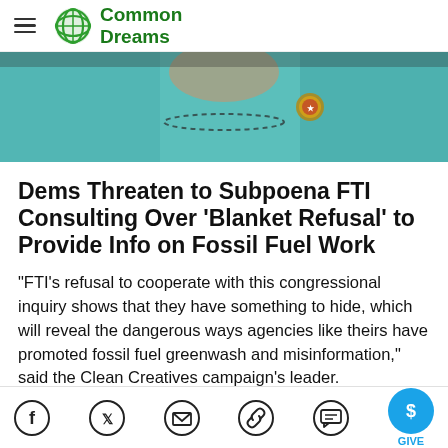Common Dreams
[Figure (photo): Close-up photo of a person wearing a teal/turquoise outfit with a beaded necklace and a congressional pin or badge]
Dems Threaten to Subpoena FTI Consulting Over 'Blanket Refusal' to Provide Info on Fossil Fuel Work
"FTI's refusal to cooperate with this congressional inquiry shows that they have something to hide, which will reveal the dangerous ways agencies like theirs have promoted fossil fuel greenwash and misinformation," said the Clean Creatives campaign's leader.
Jessica Corbett        Aug 10, 2022
Social share icons: Facebook, Twitter, Email, Link, Comment, Give